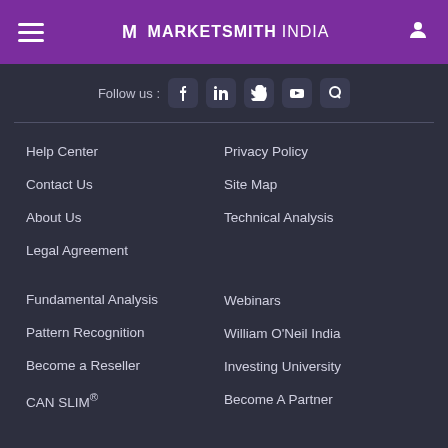MarketSmith India
Follow us :
Help Center
Contact Us
About Us
Legal Agreement
Fundamental Analysis
Pattern Recognition
Become a Reseller
CAN SLIM®
Privacy Policy
Site Map
Technical Analysis
Webinars
William O'Neil India
Investing University
Become A Partner